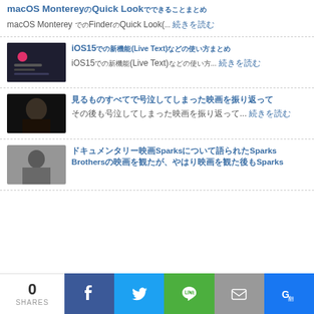macOS Monterey Quick Look
macOS Monterey Finder Quick Look(...  続きを読む
[Figure (screenshot): macOS iOS screenshot with pink dots and dark background UI]
iOS15 Live Text
iOS15 (Live Text)... 続きを読む
[Figure (photo): Dark photo of a person speaking, video still]
Article title in Japanese characters
Japanese article excerpt... 続きを読む
[Figure (photo): Black and white photo of a person]
Sparks Brothers Sparks article in Japanese
0 SHARES | Facebook | Twitter | LINE | Mail | G